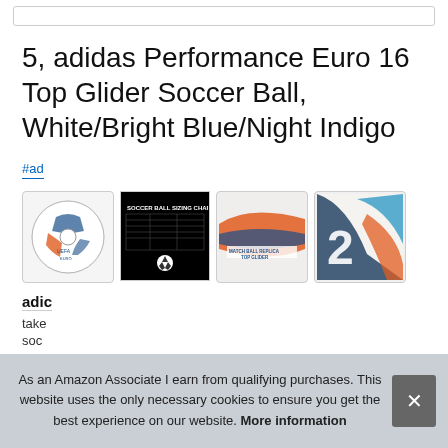5, adidas Performance Euro 16 Top Glider Soccer Ball, White/Bright Blue/Night Indigo
#ad
[Figure (screenshot): Four product image thumbnails of adidas soccer ball: white soccer ball with blue/orange design, black sizing chart, close-up of ball with 'Match Ball Replica Top Glider' text, and close-up of number/design detail.]
adidas
take
soc
As an Amazon Associate I earn from qualifying purchases. This website uses the only necessary cookies to ensure you get the best experience on our website. More information